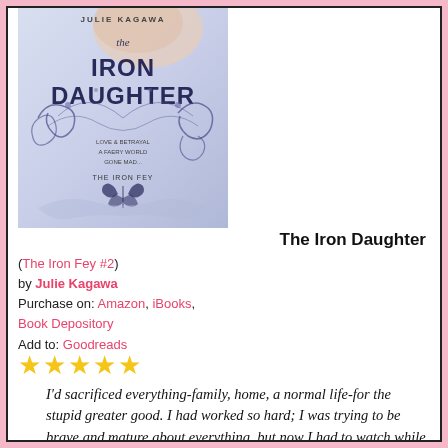[Figure (illustration): Book cover of 'The Iron Daughter' by Julie Kagawa, part of The Iron Fey series. Shows a stylized blue/purple cover with decorative swirling vines, a butterfly, and text reading 'LOVE, BETRAYAL, A FAERY WORLD GONE MAD... THE IRON FEY'.]
The Iron Daughter
(The Iron Fey #2)
by Julie Kagawa
Purchase on: Amazon, iBooks, Book Depository
Add to: Goodreads
★★★★★
I'd sacrificed everything-family, home, a normal life-for the stupid greater good. I had worked so hard; I was trying to be brave and mature about everything, but now I had to watch while the thing I loved most was killed in front of